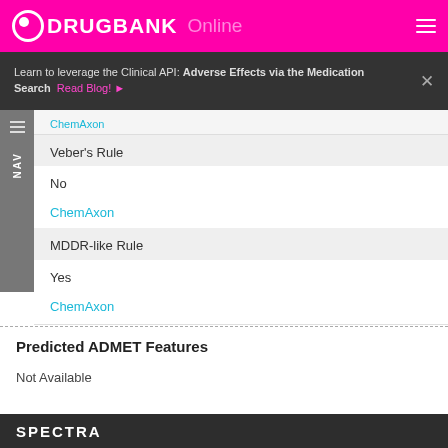DRUGBANK Online
Learn to leverage the Clinical API: Adverse Effects via the Medication Search  Read Blog!
ChemAxon
Veber's Rule
No
ChemAxon
MDDR-like Rule
Yes
ChemAxon
Predicted ADMET Features
Not Available
SPECTRA